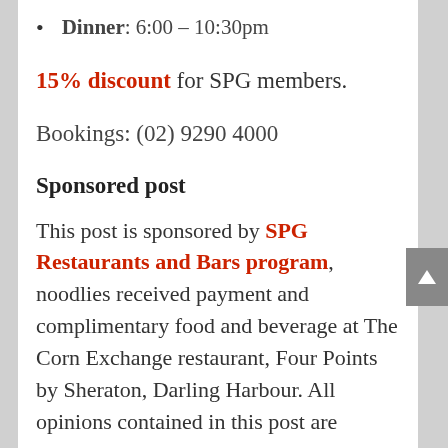Dinner: 6:00 – 10:30pm
15% discount for SPG members.
Bookings: (02) 9290 4000
Sponsored post
This post is sponsored by SPG Restaurants and Bars program, noodlies received payment and complimentary food and beverage at The Corn Exchange restaurant, Four Points by Sheraton, Darling Harbour. All opinions contained in this post are